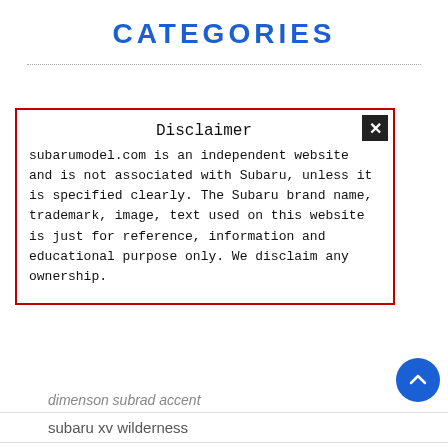CATEGORIES
Disclaimer
subarumodel.com is an independent website and is not associated with Subaru, unless it is specified clearly. The Subaru brand name, trademark, image, text used on this website is just for reference, information and educational purpose only. We disclaim any ownership.
dimenson subrad accent
subaru xv wilderness
subaru ascent 2023 specs